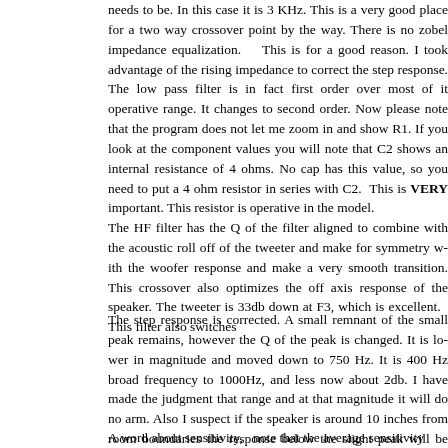needs to be. In this case it is 3 KHz. This is a very good place for a two way crossover point by the way. There is no zobel impedance equalization. This is for a good reason. I took advantage of the rising impedance to correct the step response. The low pass filter is in fact first order over most of it operative range. It changes to second order. Now please note that the program does not let me zoom in and show R1. If you look at the component values you will note that C2 shows an internal resistance of 4 ohms. No cap has this value, so you need to put a 4 ohm resistor in series with C2. This is VERY important. This resistor is operative in the model.
The HF filter has the Q of the filter aligned to combine with the acoustic roll off of the tweeter and make for symmetry with the woofer response and make a very smooth transition. This crossover also optimizes the off axis response of the speaker. The tweeter is 33db down at F3, which is excellent. This filter also switches order.
The step response is corrected. A small remnant of the small woofer peak remains, however the Q of the peak is changed. It is lower in magnitude and moved down to 750 Hz. It is 400 Hz broad from 500 to 1000Hz, and less now about 2db. I have made the judgment that in that range and at that magnitude it will do no arm. Also I suspect if the speaker is around 10 inches from room boundaries the response below the slight peak will be lifted by that small amount to help compensate for cabinet diffraction loss.
A word about sensitivity, note that the average sensitivity